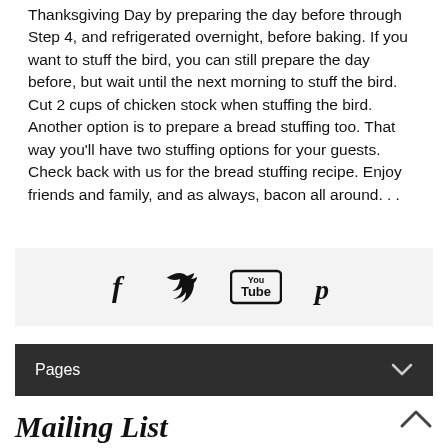Thanksgiving Day by preparing the day before through Step 4, and refrigerated overnight, before baking. If you want to stuff the bird, you can still prepare the day before, but wait until the next morning to stuff the bird. Cut 2 cups of chicken stock when stuffing the bird. Another option is to prepare a bread stuffing too. That way you'll have two stuffing options for your guests. Check back with us for the bread stuffing recipe. Enjoy friends and family, and as always, bacon all around. . .
[Figure (infographic): Social media icons bar: Facebook, Twitter, YouTube, Pinterest]
Pages
Mailing List